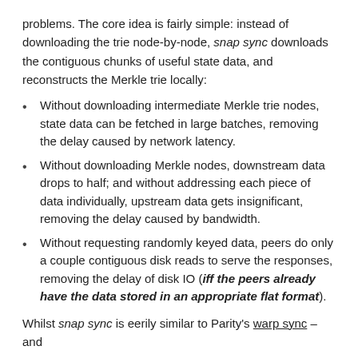problems. The core idea is fairly simple: instead of downloading the trie node-by-node, snap sync downloads the contiguous chunks of useful state data, and reconstructs the Merkle trie locally:
Without downloading intermediate Merkle trie nodes, state data can be fetched in large batches, removing the delay caused by network latency.
Without downloading Merkle nodes, downstream data drops to half; and without addressing each piece of data individually, upstream data gets insignificant, removing the delay caused by bandwidth.
Without requesting randomly keyed data, peers do only a couple contiguous disk reads to serve the responses, removing the delay of disk IO (iff the peers already have the data stored in an appropriate flat format).
Whilst snap sync is eerily similar to Parity's warp sync – and